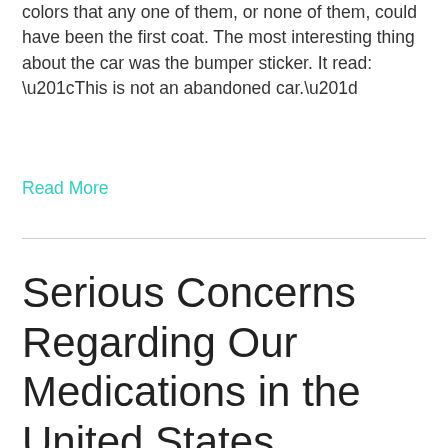colors that any one of them, or none of them, could have been the first coat. The most interesting thing about the car was the bumper sticker. It read: “This is not an abandoned car.”
Read More
Serious Concerns Regarding Our Medications in the United States